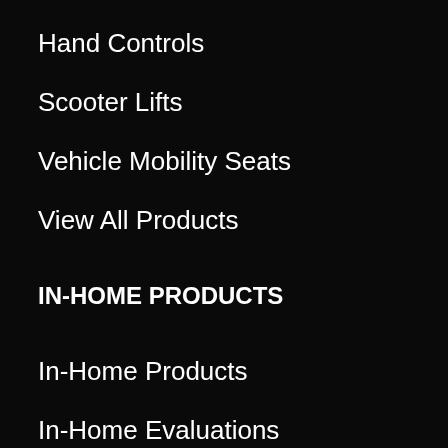Hand Controls
Scooter Lifts
Vehicle Mobility Seats
View All Products
IN-HOME PRODUCTS
In-Home Products
In-Home Evaluations
USED PRODUCTS
In-Stock Used Equipment